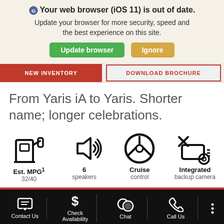🌐 Your web browser (iOS 11) is out of date. Update your browser for more security, speed and the best experience on this site.
[Figure (screenshot): Two buttons: 'Update browser' (green) and 'Ignore' (gold/tan)]
[Figure (screenshot): Two partially visible buttons: 'NEW INVENTORY' (red) and 'DOWNLOAD BROCHURE' (outlined red)]
From Yaris iA to Yaris. Shorter name; longer celebrations.
[Figure (infographic): Four feature icons: gas pump icon for Est. MPG 32/40, speaker icon for 6 speakers, steering wheel icon for Cruise control, car with backup camera icon for Integrated backup camera]
[Figure (screenshot): Bottom navigation bar with icons: Contact Us, Check Availability, Chat, Call Us, and a three-dot menu]